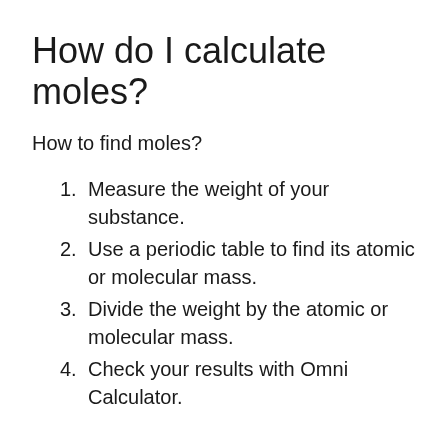How do I calculate moles?
How to find moles?
Measure the weight of your substance.
Use a periodic table to find its atomic or molecular mass.
Divide the weight by the atomic or molecular mass.
Check your results with Omni Calculator.